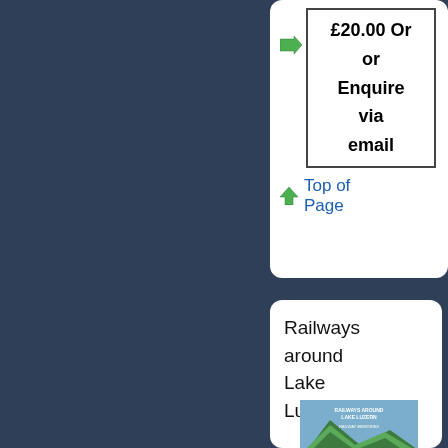£20.00 Order or Enquire via email
Top of Page
Railways around Lake Luzern
[Figure (photo): Book cover for Railways around Lake Luzern showing a train on mountain railway scenery]